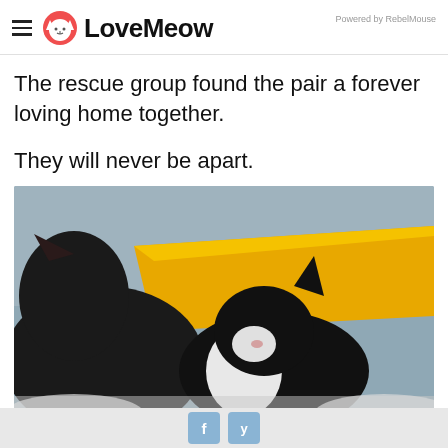LoveMeow — Powered by RebelMouse
The rescue group found the pair a forever loving home together.
They will never be apart.
[Figure (photo): Two black and white cats sleeping together on a yellow blanket against a grey-blue background.]